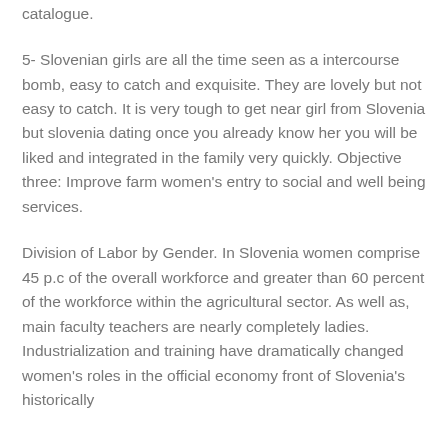catalogue.
5- Slovenian girls are all the time seen as a intercourse bomb, easy to catch and exquisite. They are lovely but not easy to catch. It is very tough to get near girl from Slovenia but slovenia dating once you already know her you will be liked and integrated in the family very quickly. Objective three: Improve farm women's entry to social and well being services.
Division of Labor by Gender. In Slovenia women comprise 45 p.c of the overall workforce and greater than 60 percent of the workforce within the agricultural sector. As well as, main faculty teachers are nearly completely ladies. Industrialization and training have dramatically changed women's roles in the official economy front of Slovenia's historically